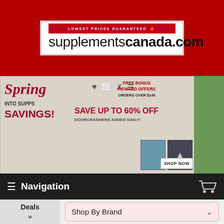[Figure (logo): supplementscanada.com logo with red 'LOWEST PRICES GUARANTEED' banner and Canadian maple leaf]
[Figure (infographic): Spring Into Supps Savings banner: Save up to 60% off, Doorcrashers Added Daily, Free Bonus Reward Offers Orders Over $149, Shop Now button]
Navigation
Shop By Brand
Shop By Category
How To Use
Search
[Figure (logo): Hammer brand logo (partially visible at bottom)]